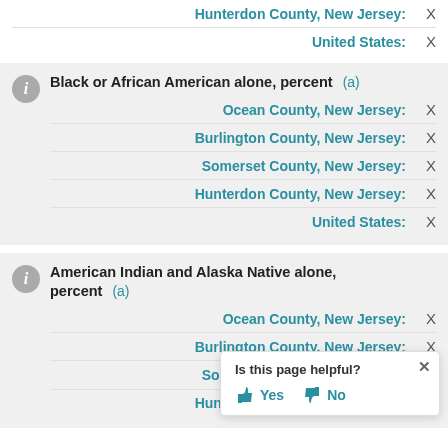| Location | Value |
| --- | --- |
| Hunterdon County, New Jersey: | X |
| United States: | X |
Black or African American alone, percent (a)
| Location | Value |
| --- | --- |
| Ocean County, New Jersey: | X |
| Burlington County, New Jersey: | X |
| Somerset County, New Jersey: | X |
| Hunterdon County, New Jersey: | X |
| United States: | X |
American Indian and Alaska Native alone, percent (a)
| Location | Value |
| --- | --- |
| Ocean County, New Jersey: | X |
| Burlington County, New Jersey: | X |
| Somerset County, New Jersey: | X |
| Hunterdon County, New Jersey: | X |